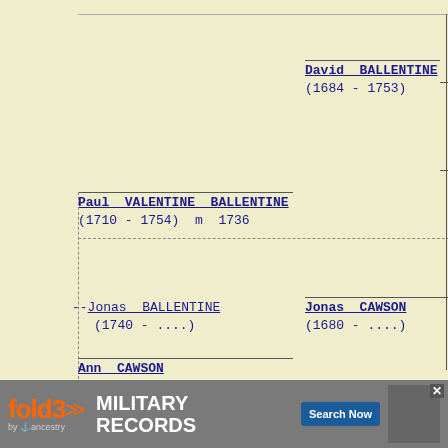[Figure (other): Genealogy family tree diagram showing ancestors of Jonas BALLENTINE. Paul VALENTINE BALLENTINE (1710-1754) m 1736 connected to David BALLENTINE (1684-1753) above. Jonas BALLENTINE (1740-....) shown as main subject. Ann CAWSON (1710-....) m 1736 connected to Jonas CAWSON (1680-...) below.]
David BALLENTINE (1684 - 1753)
Paul VALENTINE BALLENTINE (1710 - 1754) m 1736
--Jonas BALLENTINE (1740 - ....)
Jonas CAWSON (1680 - ....)
Ann CAWSON (1710 - ....) m 1736